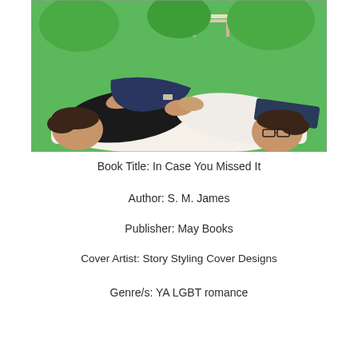[Figure (illustration): Comic/illustrated style book cover image showing two young men lying down together on what appears to be a blanket outdoors. One wears a black shirt, the other a white shirt. The background shows green grass and a park bench. The art style is graphic novel/comic art.]
Book Title: In Case You Missed It
Author: S. M. James
Publisher: May Books
Cover Artist: Story Styling Cover Designs
Genre/s: YA LGBT romance